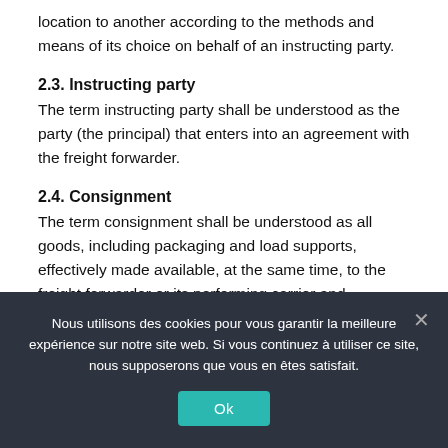location to another according to the methods and means of its choice on behalf of an instructing party.
2.3. Instructing party
The term instructing party shall be understood as the party (the principal) that enters into an agreement with the freight forwarder.
2.4. Consignment
The term consignment shall be understood as all goods, including packaging and load supports, effectively made available, at the same time, to the freight forwarder or its performing carrier and
Nous utilisons des cookies pour vous garantir la meilleure expérience sur notre site web. Si vous continuez à utiliser ce site, nous supposerons que vous en êtes satisfait.
Ok